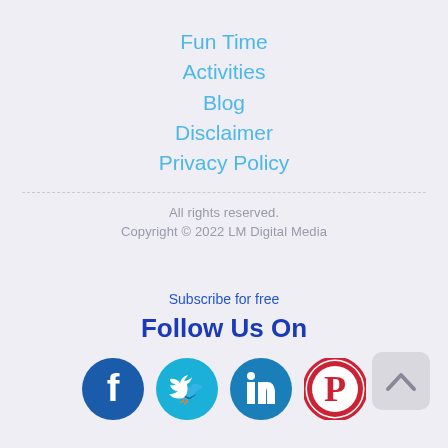Fun Time
Activities
Blog
Disclaimer
Privacy Policy
All rights reserved.
Copyright © 2022 LM Digital Media
Subscribe for free
Follow Us On
[Figure (illustration): Social media icons: Facebook, Twitter, LinkedIn, Pinterest]